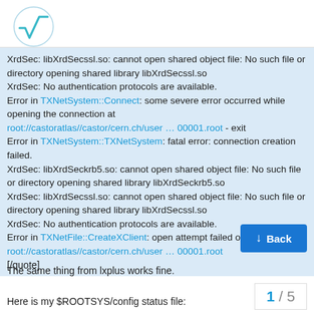[Figure (logo): Square root / math logo icon in teal/cyan color]
XrdSec: libXrdSecssl.so: cannot open shared object file: No such file or directory opening shared library libXrdSecssl.so XrdSec: No authentication protocols are available. Error in TXNetSystem::Connect: some severe error occurred while opening the connection at root://castoratlas//castor/cern.ch/user … 00001.root - exit Error in TXNetSystem::TXNetSystem: fatal error: connection creation failed. XrdSec: libXrdSeckrb5.so: cannot open shared object file: No such file or directory opening shared library libXrdSeckrb5.so XrdSec: libXrdSecssl.so: cannot open shared object file: No such file or directory opening shared library libXrdSecssl.so XrdSec: No authentication protocols are available. Error in TXNetFile::CreateXClient: open attempt failed on root://castoratlas//castor/cern.ch/user … 00001.root [/quote]
The same thing from lxplus works fine.
Here is my $ROOTSYS/config status file: